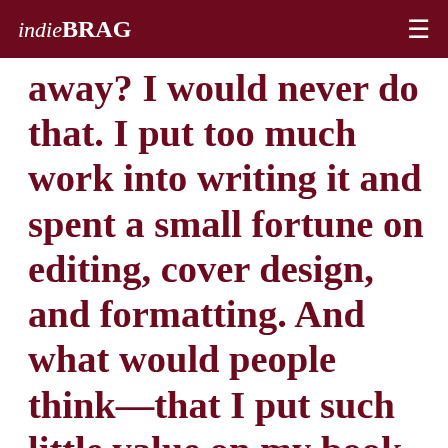indieBRAG ≡
away? I would never do that. I put too much work into writing it and spent a small fortune on editing, cover design, and formatting. And what would people think—that I put such little value on my book that I'm willing to give it away? Oh, No, Ma...